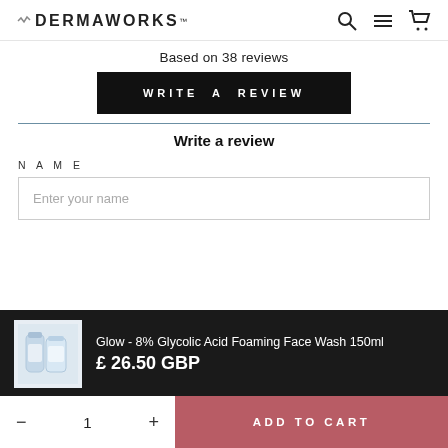DERMAWORKS
Based on 38 reviews
WRITE A REVIEW
Write a review
NAME
Enter your name
Glow - 8% Glycolic Acid Foaming Face Wash 150ml
£ 26.50 GBP
- 1 +
ADD TO CART